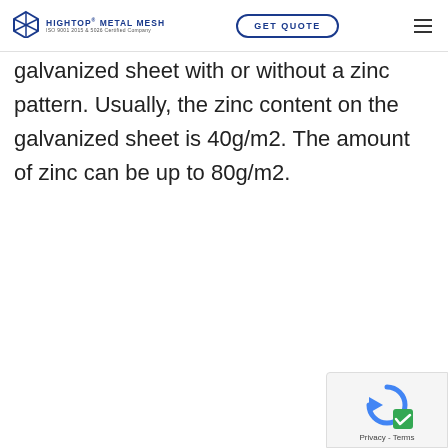HIGHTOP METAL MESH | GET QUOTE
galvanized sheet with or without a zinc pattern. Usually, the zinc content on the galvanized sheet is 40g/m2. The amount of zinc can be up to 80g/m2.
[Figure (logo): reCAPTCHA privacy widget with shield icon and Privacy - Terms links]